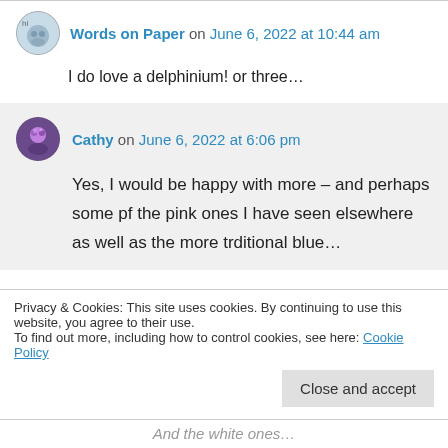Words on Paper on June 6, 2022 at 10:44 am
I do love a delphinium! or three…
Cathy on June 6, 2022 at 6:06 pm
Yes, I would be happy with more – and perhaps some pf the pink ones I have seen elsewhere as well as the more trditional blue…
Privacy & Cookies: This site uses cookies. By continuing to use this website, you agree to their use.
To find out more, including how to control cookies, see here: Cookie Policy
Close and accept
And the white ones…